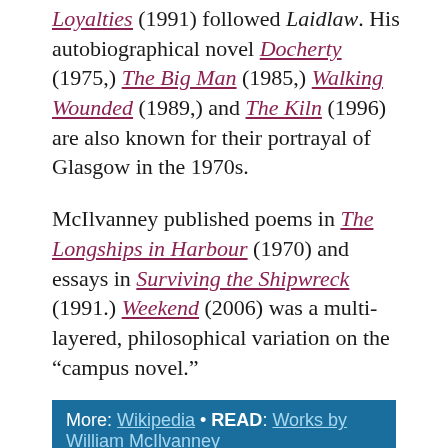Loyalties (1991) followed Laidlaw. His autobiographical novel Docherty (1975,) The Big Man (1985,) Walking Wounded (1989,) and The Kiln (1996) are also known for their portrayal of Glasgow in the 1970s.
McIlvanney published poems in The Longships in Harbour (1970) and essays in Surviving the Shipwreck (1991.) Weekend (2006) was a multi-layered, philosophical variation on the “campus novel.”
More: Wikipedia • READ: Works by William McIlvanney
Who thinks the law has anything to do with justice? It’s what we have because we can’t